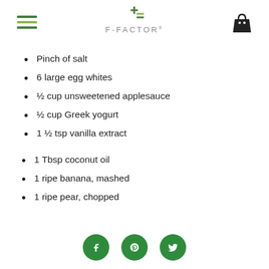F-FACTOR
Pinch of salt
6 large egg whites
½ cup unsweetened applesauce
½ cup Greek yogurt
1 ½ tsp vanilla extract
1 Tbsp coconut oil
1 ripe banana, mashed
1 ripe pear, chopped
[Figure (logo): Social media icons: Facebook, Pinterest, Twitter in green circles]